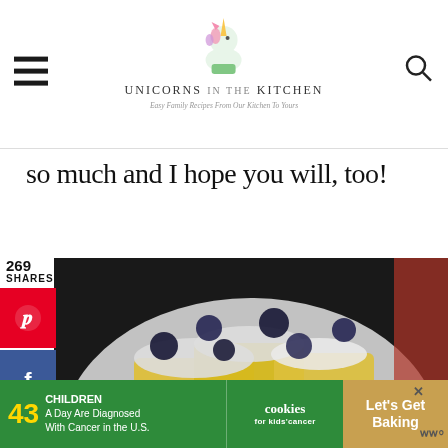Unicorns in the Kitchen — Easy Family Recipes From Our Kitchen To Yours
so much and I hope you will, too!
[Figure (photo): A close-up photo of yellow cake slices with white cream and blueberries on a white plate, with a red cloth in the background.]
[Figure (infographic): Advertisement banner: '43 Children A Day Are Diagnosed With Cancer in the U.S.' with cookies for kids' cancer logo and 'Let's Get Baking' text.]